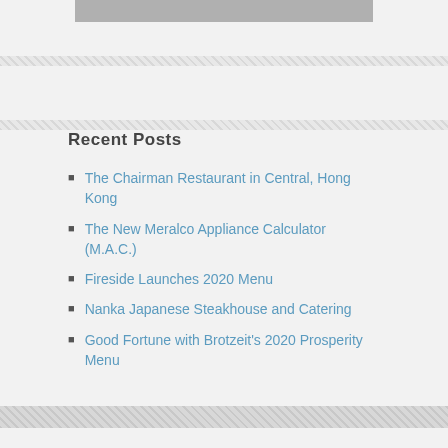[Figure (other): Gray image or banner bar at top]
Recent Posts
The Chairman Restaurant in Central, Hong Kong
The New Meralco Appliance Calculator (M.A.C.)
Fireside Launches 2020 Menu
Nanka Japanese Steakhouse and Catering
Good Fortune with Brotzeit's 2020 Prosperity Menu